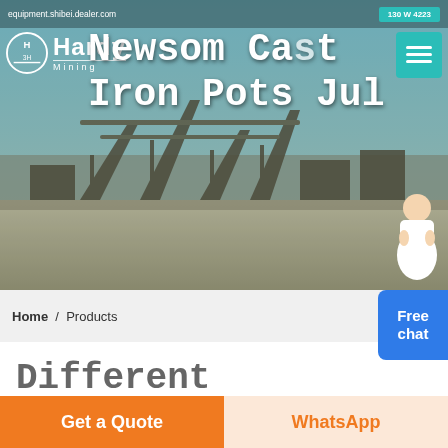equipment.shibei.dealer.com / ... / 130 W 4223
[Figure (photo): Hero banner with Hardy Mining logo on left, industrial mining plant/equipment visible in background, large bold white text overlaid reading 'Hardy Newsom Cast Iron Pots Jul', teal menu button top right]
Home / Products
Different Machines To Meet All Need
[Figure (photo): Partial view of an industrial facility interior with blue steel roof/structure]
Get a Quote
WhatsApp